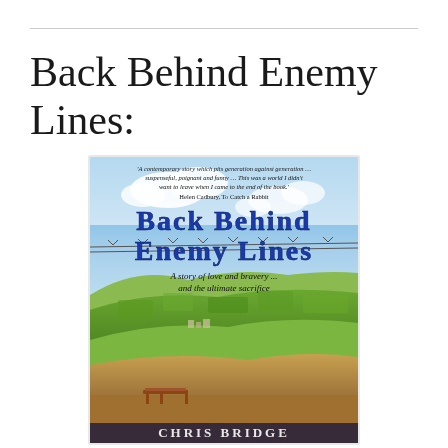Back Behind Enemy Lines:
[Figure (illustration): Book cover for 'Back Behind Enemy Lines' by Chris Bridge. Cover shows a landscape of green fields and hills under a blue sky with clouds. Barbed wire runs across the middle. The title 'Back Behind Enemy Lines' is in large blue distressed lettering. Subtitle: 'A story of love and bravery ... and the ultimate sacrifice'. A quote at the top reads: 'A contemporary story which pits generation against generation ... suspenseful, poignant and funny ... This was a world I didn't want to leave when I came to the end of the book.' Helen Cadbury, To Catch a Rabbit. Author name 'Chris Bridge' appears at the bottom.]